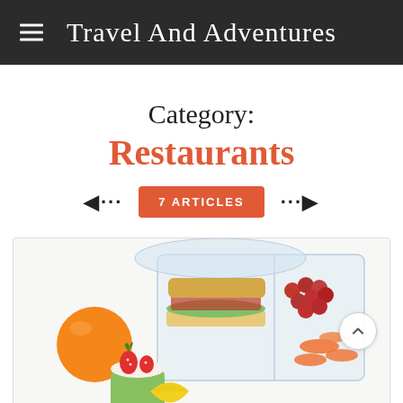Travel And Adventures
Category:
Restaurants
7 ARTICLES
[Figure (photo): A lunch box / meal prep container with a sandwich, grapes, carrot slices, strawberries and cream dessert cup, and an orange on a white background.]